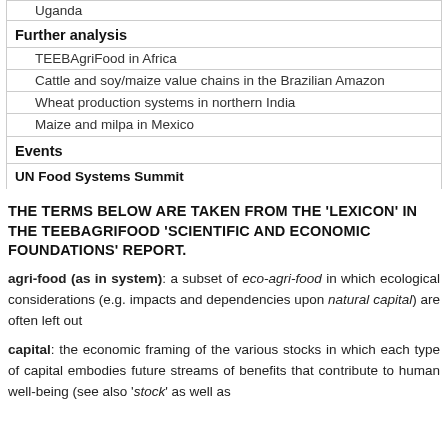| Further analysis |
| TEEBAgriFood in Africa |
| Cattle and soy/maize value chains in the Brazilian Amazon |
| Wheat production systems in northern India |
| Maize and milpa in Mexico |
| Events |
| UN Food Systems Summit |
THE TERMS BELOW ARE TAKEN FROM THE 'LEXICON' IN THE TEEBAGRIFOOD 'SCIENTIFIC AND ECONOMIC FOUNDATIONS' REPORT.
agri-food (as in system): a subset of eco-agri-food in which ecological considerations (e.g. impacts and dependencies upon natural capital) are often left out
capital: the economic framing of the various stocks in which each type of capital embodies future streams of benefits that contribute to human well-being (see also 'stock' as well as the associated term 'natural capital' below)